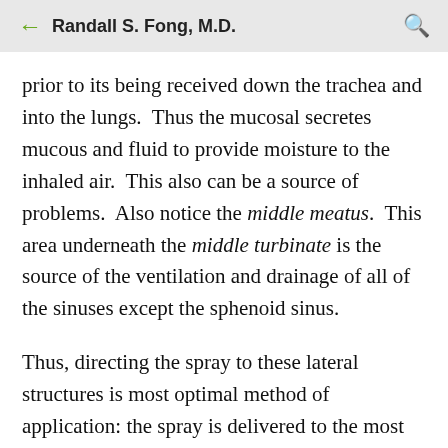Randall S. Fong, M.D.
prior to its being received down the trachea and into the lungs.  Thus the mucosal secretes mucous and fluid to provide moisture to the inhaled air.  This also can be a source of problems.  Also notice the middle meatus.  This area underneath the middle turbinate is the source of the ventilation and drainage of all of the sinuses except the sphenoid sinus.
Thus, directing the spray to these lateral structures is most optimal method of application: the spray is delivered to the most affected mucosa